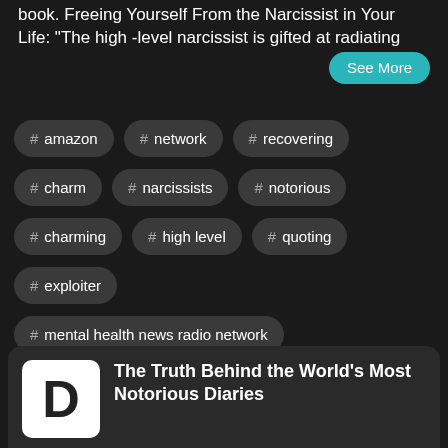book. Freeing Yourself From the Narcissist in Your Life: "The high -level narcissist is gifted at radiating
See More
# amazon
# network
# recovering
# charm
# narcissists
# notorious
# charming
# high level
# quoting
# exploiter
# mental health news radio network
# healing after
# your life podcast
The Truth Behind the World's Most Notorious Diaries